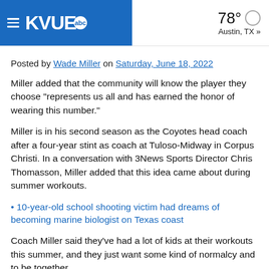KVUE abc — 78° Austin, TX »
Posted by Wade Miller on Saturday, June 18, 2022
Miller added that the community will know the player they choose "represents us all and has earned the honor of wearing this number."
Miller is in his second season as the Coyotes head coach after a four-year stint as coach at Tuloso-Midway in Corpus Christi. In a conversation with 3News Sports Director Chris Thomasson, Miller added that this idea came about during summer workouts.
• 10-year-old school shooting victim had dreams of becoming marine biologist on Texas coast
Coach Miller said they've had a lot of kids at their workouts this summer, and they just want some kind of normalcy and to be together.